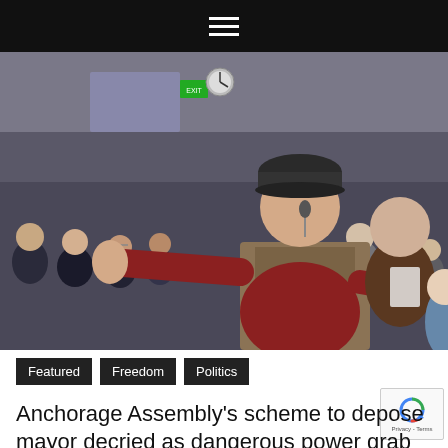☰
[Figure (photo): A man in a dark cap and maroon shirt speaking at a podium labeled 'Eugene Carl Haberman', gesturing with one arm outstretched. A crowded assembly room is visible in the background with many attendees seated.]
Featured
Freedom
Politics
Anchorage Assembly's scheme to depose mayor decried as dangerous power grab